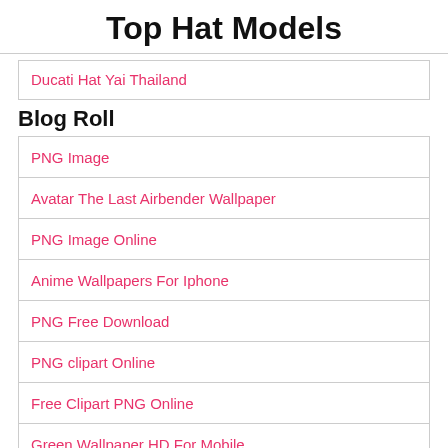Top Hat Models
Ducati Hat Yai Thailand
Blog Roll
PNG Image
Avatar The Last Airbender Wallpaper
PNG Image Online
Anime Wallpapers For Iphone
PNG Free Download
PNG clipart Online
Free Clipart PNG Online
Green Wallpaper HD For Mobile
Awesome Cute Wallpapers